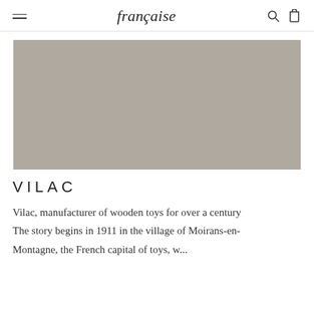française
[Figure (photo): Large grey placeholder image representing a product or brand photo for Vilac]
VILAC
Vilac, manufacturer of wooden toys for over a century The story begins in 1911 in the village of Moirans-en-Montagne, the French capital of toys, w...